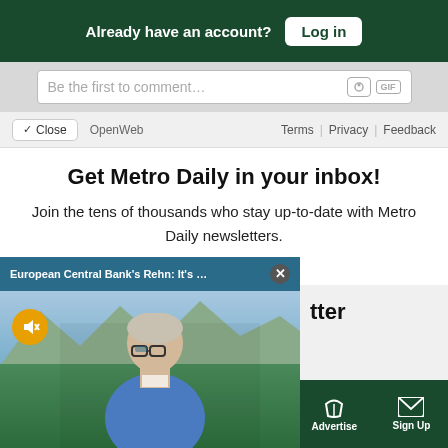Already have an account? Log in
Be the first to comment...
✓ Close | OpenWeb | Terms | Privacy | Feedback
Get Metro Daily in your inbox!
Join the tens of thousands who stay up-to-date with Metro Daily newsletters.
[Figure (screenshot): Video popup bar with title 'European Central Bank's Rehn: It's ...' and close button, overlaid on newsletter modal. Video shows an older man in a blue sweater outdoors with mountains in background. Mute button visible as yellow circle icon.]
tter
Sections | NY Edition | Philly | Games | Advertise | Sign Up